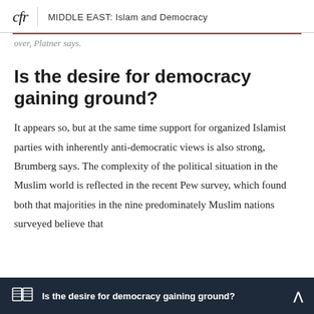cfr | MIDDLE EAST: Islam and Democracy
over, Plastner says.
Is the desire for democracy gaining ground?
It appears so, but at the same time support for organized Islamist parties with inherently anti-democratic views is also strong, Brumberg says. The complexity of the political situation in the Muslim world is reflected in the recent Pew survey, which found both that majorities in the nine predominately Muslim nations surveyed believe that
Is the desire for democracy gaining ground?